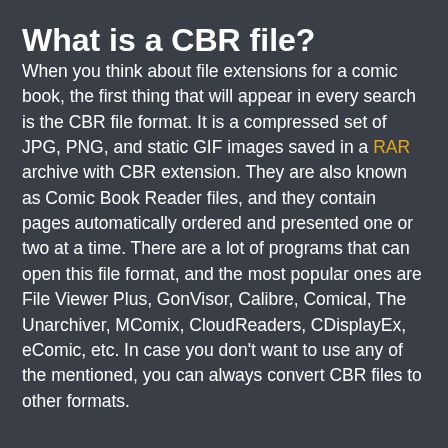What is a CBR file?
When you think about file extensions for a comic book, the first thing that will appear in every search is the CBR file format. It is a compressed set of JPG, PNG, and static GIF images saved in a RAR archive with CBR extension. They are also known as Comic Book Reader files, and they contain pages automatically ordered and presented one or two at a time. There are a lot of programs that can open this file format, and the most popular ones are File Viewer Plus, GonVisor, Calibre, Comical, The Unarchiver, MComix, CloudReaders, CDisplayEx, eComic, etc. In case you don't want to use any of the mentioned, you can always convert CBR files to other formats.